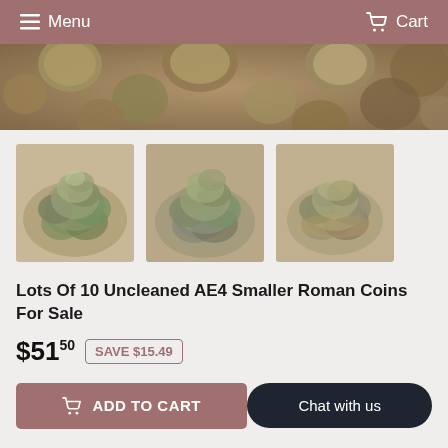Menu | Cart
[Figure (photo): Top view of multiple uncleaned ancient Roman coins scattered, brownish/olive tones]
[Figure (photo): Three thumbnail images of piles of uncleaned AE4 smaller Roman coins]
Lots Of 10 Uncleaned AE4 Smaller Roman Coins For Sale
$51.50 SAVE $15.49
ADD TO CART | Chat with us